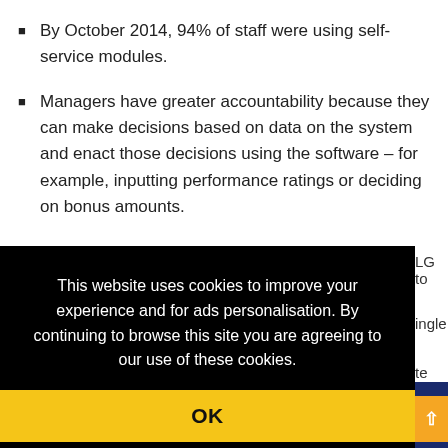By October 2014, 94% of staff were using self-service modules.
Managers have greater accountability because they can make decisions based on data on the system and enact those decisions using the software – for example, inputting performance ratings or deciding on bonus amounts.
This website uses cookies to improve your experience and for ads personalisation. By continuing to browse this site you are agreeing to our use of these cookies. You can learn more about the cookies we use here.
OK